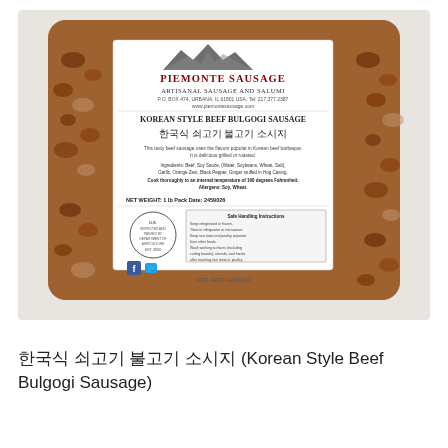[Figure (photo): Vacuum-sealed package of Piemonte Sausage Korean Style Beef Bulgogi Sausage. The package shows a white label with mountains graphic, text reading 'Piemonte Sausage, Artisanal Sausage and Salumi, P.O. Box 474, Urbana, IL 61801 USA, Tel: 217.377.2387, www.piemontesausage.com', 'Korean Style Beef Bulgogi Sausage' in bold, Korean text '한국식 쇠고기 불고기 소시지', ingredient and allergen information, net weight and pack date fields, USDA inspection circle, Safe Handling Instructions, Facebook and Twitter icons, and 'KEEP REFRIGERATED' text. The sausage visible through the packaging shows ground beef with visible grain texture.]
한국식 쇠고기 불고기 소시지 (Korean Style Beef Bulgogi Sausage)